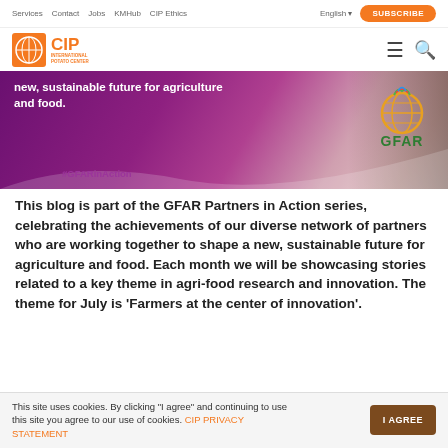Services  Contact  Jobs  KMHub  CIP Ethics  English  SUBSCRIBE
[Figure (logo): CIP International Potato Center logo with orange background and hamburger menu and search icons]
[Figure (photo): Hero banner with purple background showing text 'new, sustainable future for agriculture and food.' with #GFARinAction hashtag and GFAR globe logo]
This blog is part of the GFAR Partners in Action series, celebrating the achievements of our diverse network of partners who are working together to shape a new, sustainable future for agriculture and food. Each month we will be showcasing stories related to a key theme in agri-food research and innovation. The theme for July is 'Farmers at the center of innovation'.
This site uses cookies. By clicking 'I agree' and continuing to use this site you agree to our use of cookies. CIP PRIVACY STATEMENT